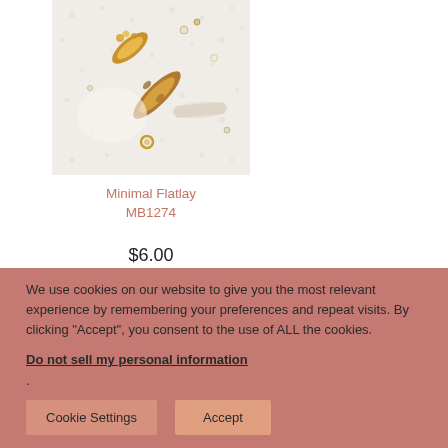[Figure (photo): Flatlay photo of gold and pearl hair clips and small jewelry pieces on a white textured background]
Minimal Flatlay MB1274
$6.00
We use cookies on our website to give you the most relevant experience by remembering your preferences and repeat visits. By clicking “Accept”, you consent to the use of ALL the cookies.
Do not sell my personal information.
Cookie Settings
Accept